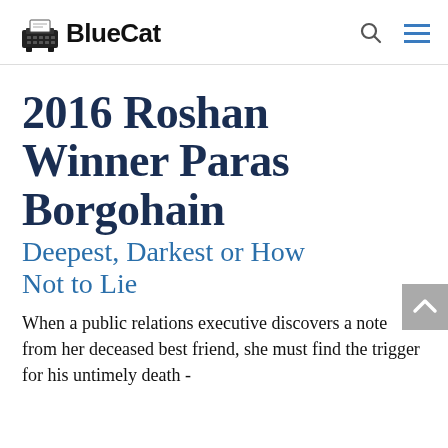BlueCat
2016 Roshan Winner Paras Borgohain
Deepest, Darkest or How Not to Lie
When a public relations executive discovers a note from her deceased best friend, she must find the trigger for his untimely death -